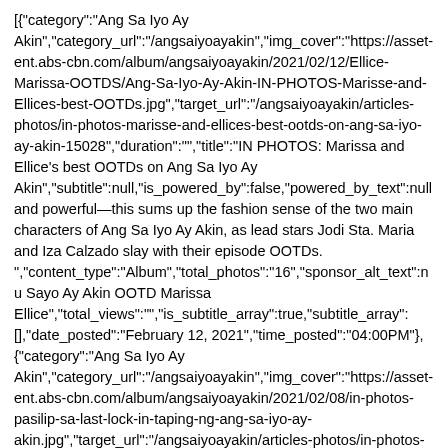[{"category":"Ang Sa Iyo Ay Akin","category_url":"/angsaiyoayakin","img_cover":"https://asset-ent.abs-cbn.com/album/angsaiyoayakin/2021/02/12/Ellice-Marissa-OOTDS/Ang-Sa-Iyo-Ay-Akin-IN-PHOTOS-Marisse-and-Ellices-best-OOTDs.jpg","target_url":"/angsaiyoayakin/articles-photos/in-photos-marisse-and-ellices-best-ootds-on-ang-sa-iyo-ay-akin-15028","duration":"","title":"IN PHOTOS: Marissa and Ellice's best OOTDs on Ang Sa Iyo Ay Akin","subtitle":null,"is_powered_by":false,"powered_by_text":null and powerful—this sums up the fashion sense of the two main characters of Ang Sa Iyo Ay Akin, as lead stars Jodi Sta. Maria and Iza Calzado slay with their episode OOTDs.
","content_type":"Album","total_photos":"16","sponsor_alt_text":nu Sayo Ay Akin OOTD Marissa Ellice","total_views":"","is_subtitle_array":true,"subtitle_array":[],"date_posted":"February 12, 2021","time_posted":"04:00PM"},{"category":"Ang Sa Iyo Ay Akin","category_url":"/angsaiyoayakin","img_cover":"https://asset-ent.abs-cbn.com/album/angsaiyoayakin/2021/02/08/in-photos-pasilip-sa-last-lock-in-taping-ng-ang-sa-iyo-ay-akin.jpg","target_url":"/angsaiyoayakin/articles-photos/in-photos-pasilip-sa-last-lock-in-taping-ng-ang-sa-iyo-ay-akin-15026","duration":"","title":"IN PHOTOS: Pasilip sa last lock-in taping ng Ang Sa Iyo Ay Akin","subtitle":null,"is_powered_by":false,"powered_by_text":null